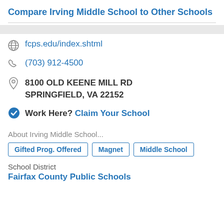Compare Irving Middle School to Other Schools
fcps.edu/index.shtml
(703) 912-4500
8100 OLD KEENE MILL RD SPRINGFIELD, VA 22152
Work Here? Claim Your School
About Irving Middle School...
Gifted Prog. Offered | Magnet | Middle School
School District
Fairfax County Public Schools